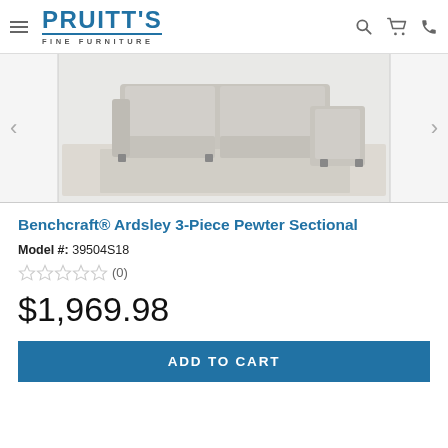PRUITT'S FINE FURNITURE
[Figure (photo): Product photo of Benchcraft Ardsley 3-Piece Pewter Sectional sofa with light gray fabric upholstery on a patterned rug]
Benchcraft® Ardsley 3-Piece Pewter Sectional
Model #: 39504S18
★★★★★ (0)
$1,969.98
ADD TO CART